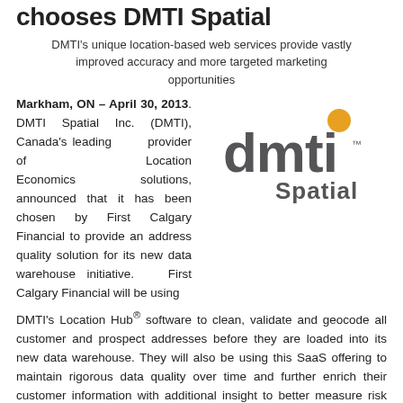chooses DMTI Spatial
DMTI's unique location-based web services provide vastly improved accuracy and more targeted marketing opportunities
Markham, ON – April 30, 2013. DMTI Spatial Inc. (DMTI), Canada's leading provider of Location Economics solutions, announced that it has been chosen by First Calgary Financial to provide an address quality solution for its new data warehouse initiative. First Calgary Financial will be using
[Figure (logo): DMTI Spatial logo — grey text 'dmti' with orange dot above the 'i', and 'Spatial' below in grey]
DMTI's Location Hub® software to clean, validate and geocode all customer and prospect addresses before they are loaded into its new data warehouse. They will also be using this SaaS offering to maintain rigorous data quality over time and further enrich their customer information with additional insight to better measure risk and uncover new opportunity.